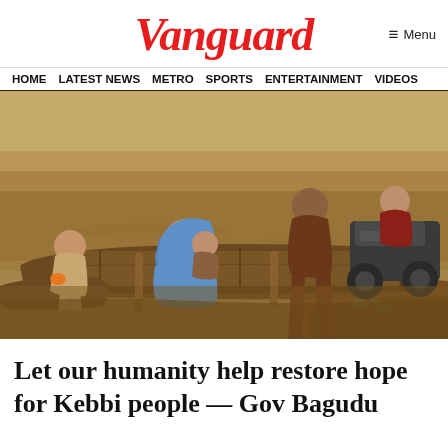Vanguard
HOME  LATEST NEWS  METRO  SPORTS  ENTERTAINMENT  VIDEOS
[Figure (photo): People riding in a wooden boat on a muddy river. A woman in a blue hijab sits in the boat, accompanied by other passengers. A motorcycle is visible on the right side of the boat. The scene appears to depict flood-affected residents being transported by boat.]
Let our humanity help restore hope for Kebbi people — Gov Bagudu